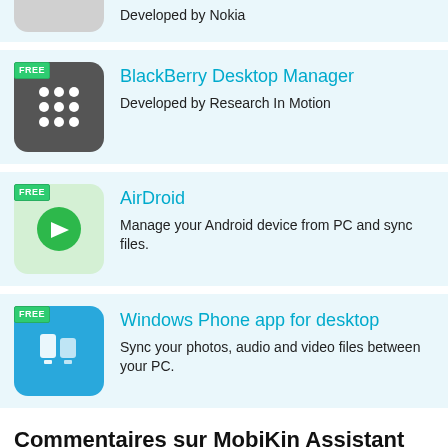Developed by Nokia
BlackBerry Desktop Manager
Developed by Research In Motion
AirDroid
Manage your Android device from PC and sync files.
Windows Phone app for desktop
Sync your photos, audio and video files between your PC.
Commentaires sur MobiKin Assistant for Android 3.12.21
Ajouter un commentaire...